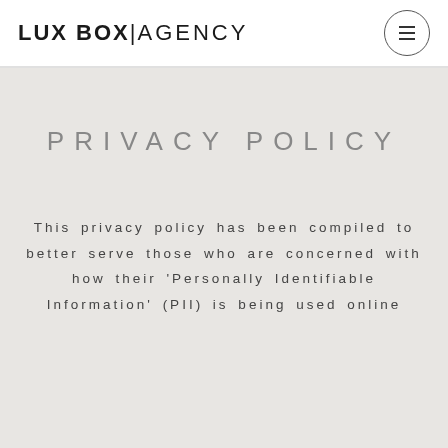LUX BOX|AGENCY
PRIVACY POLICY
This privacy policy has been compiled to better serve those who are concerned with how their ‘Personally Identifiable Information’ (PII) is being used online